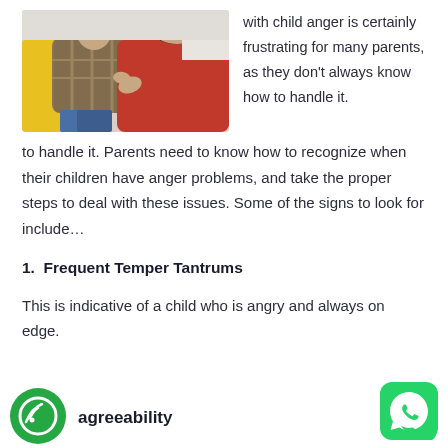[Figure (photo): Two people, one with a yellow backpack and plaid shirt, and one in a red top, appearing to be in a confrontational pose.]
with child anger is certainly frustrating for many parents, as they don't always know how to handle it. Parents need to know how to recognize when their children have anger problems, and take the proper steps to deal with these issues. Some of the signs to look for include…
1.  Frequent Temper Tantrums
This is indicative of a child who is angry and always on edge.
[Figure (logo): Green circular phone/call logo for agreeability brand]
agreeability
[Figure (logo): WhatsApp green logo icon]